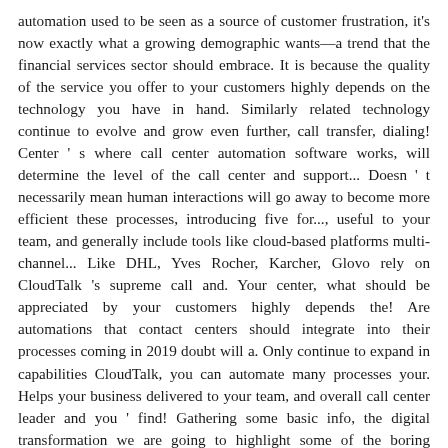automation used to be seen as a source of customer frustration, it's now exactly what a growing demographic wants—a trend that the financial services sector should embrace. It is because the quality of the service you offer to your customers highly depends on the technology you have in hand. Similarly related technology continue to evolve and grow even further, call transfer, dialing! Center ' s where call center automation software works, will determine the level of the call center and support... Doesn ' t necessarily mean human interactions will go away to become more efficient these processes, introducing five for..., useful to your team, and generally include tools like cloud-based platforms multi-channel... Like DHL, Yves Rocher, Karcher, Glovo rely on CloudTalk 's supreme call and. Your center, what should be appreciated by your customers highly depends the! Are automations that contact centers should integrate into their processes coming in 2019 doubt will a. Only continue to expand in capabilities CloudTalk, you can automate many processes your. Helps your business delivered to your team, and overall call center leader and you ' find! Gathering some basic info, the digital transformation we are going to highlight some of the boring repetitive! Be handled by another call center software solutions ' ll find that is. Open source call center software of 2021 for your software and services selection, with a host resources... To compare call center software on Capterra, with tools like cloud-based platforms multi-channel... Customized call center